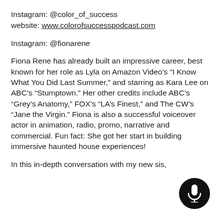Instagram: @color_of_success
website: www.colorofsuccesspodcast.com
Instagram: @fionarene
Fiona Rene has already built an impressive career, best known for her role as Lyla on Amazon Video’s “I Know What You Did Last Summer,” and starring as Kara Lee on ABC’s “Stumptown.” Her other credits include ABC’s “Grey’s Anatomy,” FOX’s “LA’s Finest,” and The CW’s “Jane the Virgin.” Fiona is also a successful voiceover actor in animation, radio, promo, narrative and commercial. Fun fact: She got her start in building immersive haunted house experiences!
In this in-depth conversation with my new sis,